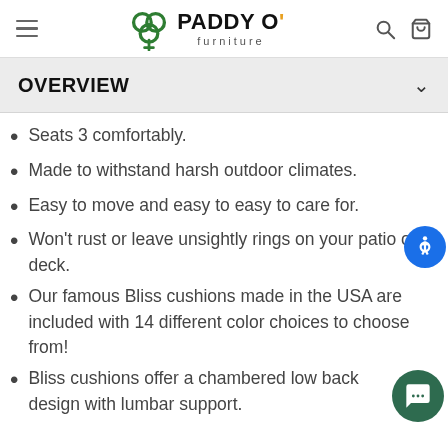Paddy O' Furniture — site header with logo, hamburger menu, search and cart icons
OVERVIEW
Seats 3 comfortably.
Made to withstand harsh outdoor climates.
Easy to move and easy to easy to care for.
Won't rust or leave unsightly rings on your patio or deck.
Our famous Bliss cushions made in the USA are included with 14 different color choices to choose from!
Bliss cushions offer a chambered low back design with lumbar support.